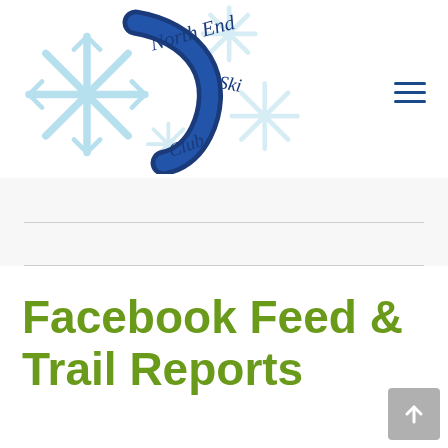[Figure (logo): North End Ski Club logo with snowflakes and curved ski trail graphic in blue tones]
Facebook Feed & Trail Reports